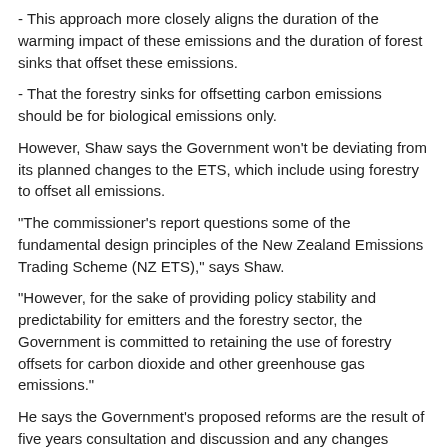- This approach more closely aligns the duration of the warming impact of these emissions and the duration of forest sinks that offset these emissions.
- That the forestry sinks for offsetting carbon emissions should be for biological emissions only.
However, Shaw says the Government won’t be deviating from its planned changes to the ETS, which include using forestry to offset all emissions.
“The commissioner’s report questions some of the fundamental design principles of the New Zealand Emissions Trading Scheme (NZ ETS),” says Shaw.
“However, for the sake of providing policy stability and predictability for emitters and the forestry sector, the Government is committed to retaining the use of forestry offsets for carbon dioxide and other greenhouse gas emissions.”
He says the Government’s proposed reforms are the result of five years consultation and discussion and any changes would take that amount of time.
But farming organisations say the Government must take note of the new findings which align with the latest and emerging science.